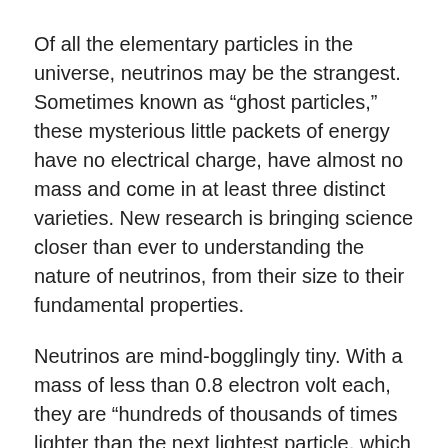Of all the elementary particles in the universe, neutrinos may be the strangest. Sometimes known as “ghost particles,” these mysterious little packets of energy have no electrical charge, have almost no mass and come in at least three distinct varieties. New research is bringing science closer than ever to understanding the nature of neutrinos, from their size to their fundamental properties.
Neutrinos are mind-bogglingly tiny. With a mass of less than 0.8 electron volt each, they are “hundreds of thousands of times lighter than the next lightest particle, which is the electron,” says Kathrin Valerius, an astroparticle researcher at Germany’s Karlsruhe Institute of Technology.
They’re also ubiquitous. Tens of trillions of